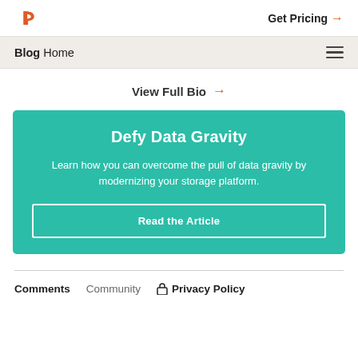Get Pricing →
Blog Home
View Full Bio →
Defy Data Gravity
Learn how you can overcome the pull of data gravity by modernizing your storage platform.
Read the Article
Comments   Community   Privacy Policy